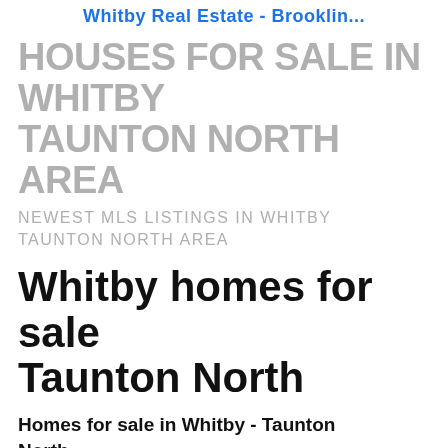Whitby Real Estate - Brooklin...
HOUSES FOR SALE IN WHITBY TAUNTON NORTH AREA
NEWEST MLS LISTINGS IN WHITBY TAUNTON NORTH AREA
Whitby homes for sale Taunton North
Homes for sale in Whitby - Taunton North
[Figure (infographic): Social login buttons: Facebook (blue), Google (red), Twitter (blue), and a Login / Signup button]